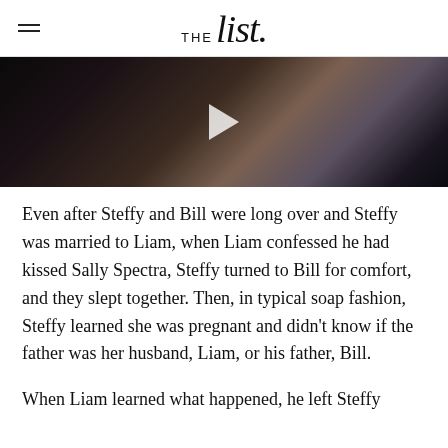THE list.
[Figure (photo): Dark close-up photo of a man, partially lit, with a play button overlay suggesting a video thumbnail]
Even after Steffy and Bill were long over and Steffy was married to Liam, when Liam confessed he had kissed Sally Spectra, Steffy turned to Bill for comfort, and they slept together. Then, in typical soap fashion, Steffy learned she was pregnant and didn't know if the father was her husband, Liam, or his father, Bill.
When Liam learned what happened, he left Steffy